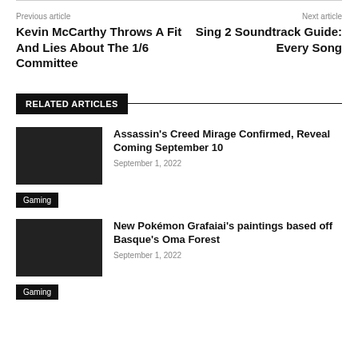Previous article
Kevin McCarthy Throws A Fit And Lies About The 1/6 Committee
Next article
Sing 2 Soundtrack Guide: Every Song
RELATED ARTICLES
Assassin's Creed Mirage Confirmed, Reveal Coming September 10
September 1, 2022
Gaming
New Pokémon Grafaiai's paintings based off Basque's Oma Forest
September 1, 2022
Gaming